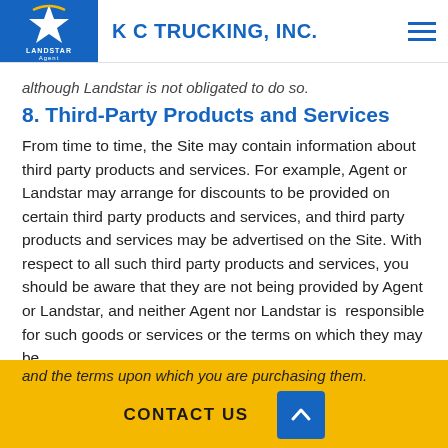K C TRUCKING, INC.
although Landstar is not obligated to do so.
8. Third-Party Products and Services
From time to time, the Site may contain information about third party products and services. For example, Agent or Landstar may arrange for discounts to be provided on certain third party products and services, and third party products and services may be advertised on the Site. With respect to all such third party products and services, you should be aware that they are not being provided by Agent or Landstar, and neither Agent nor Landstar is  responsible for such goods or services or the terms on which they may be
and the terms upon which you are purchasing them.